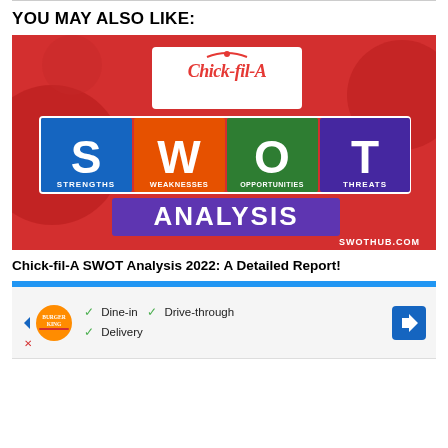YOU MAY ALSO LIKE:
[Figure (illustration): Chick-fil-A SWOT Analysis promotional image with red background. Shows Chick-fil-A logo at top center. Below are four colored blocks labeled S (blue, STRENGTHS), W (orange, WEAKNESSES), O (green, OPPORTUNITIES), T (purple, THREATS). Below that a large purple banner reading ANALYSIS. Bottom right corner shows SWOTHUB.COM.]
Chick-fil-A SWOT Analysis 2022: A Detailed Report!
[Figure (infographic): Advertisement for Burger King showing logo and checkmarks for Dine-in, Drive-through, and Delivery options with a blue navigation arrow icon.]